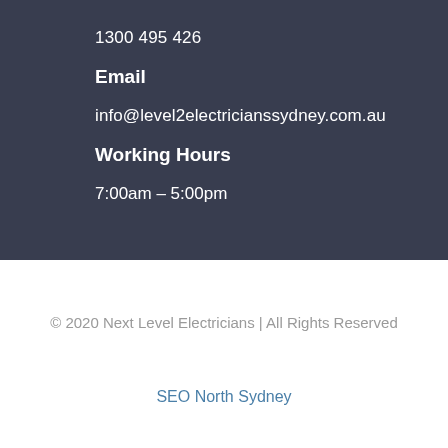1300 495 426
Email
info@level2electricianssydney.com.au
Working Hours
7:00am – 5:00pm
© 2020 Next Level Electricians | All Rights Reserved
SEO North Sydney